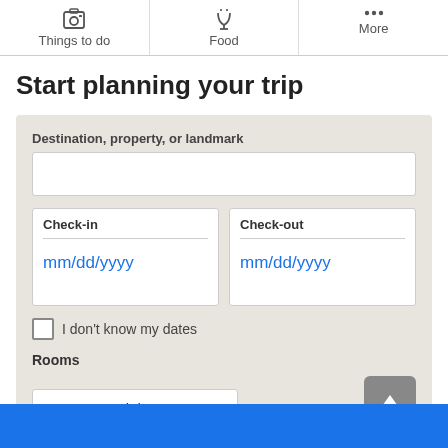Things to do | Food | More
Start planning your trip
Destination, property, or landmark
Check-in  mm/dd/yyyy
Check-out  mm/dd/yyyy
I don't know my dates
Rooms
1 room, 2 adults